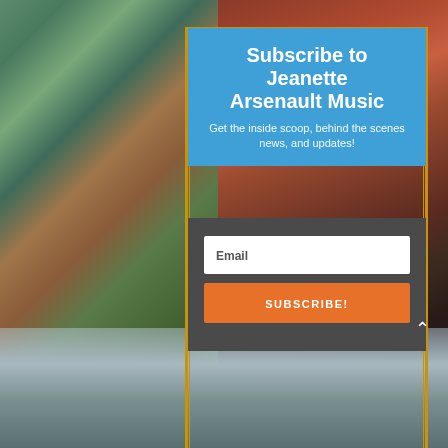[Figure (photo): Background composite: autumn mountain forest scene on the left, woman performing on stage on the right, with a landscape strip along the bottom. Gold decorative border frame overlays the central modal area.]
Subscribe to Jeanette Arsenault Music
Get the inside scoop, behind the scenes news, and updates!
Email
SUBSCRIBE!